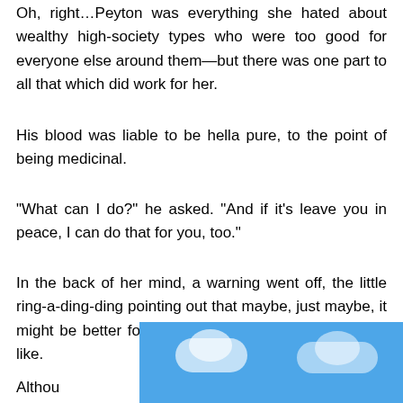Oh, right…Peyton was everything she hated about wealthy high-society types who were too good for everyone else around them—but there was one part to all that which did work for her.
His blood was liable to be hella pure, to the point of being medicinal.
“What can I do?” he asked. “And if it’s leave you in peace, I can do that for you, too.”
In the back of her mind, a warning went off, the little ring-a-ding-ding pointing out that maybe, just maybe, it might be better for her to never know what he tasted like.
Althou…d her
[Figure (illustration): Blue sky with white clouds overlay covering bottom right of page, and a pink scroll-to-top button with upward arrow.]